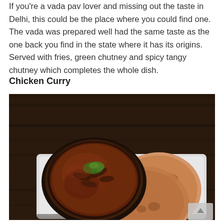If you're a vada pav lover and missing out the taste in Delhi, this could be the place where you could find one. The vada was prepared well had the same taste as the one back you find in the state where it has its origins. Served with fries, green chutney and spicy tangy chutney which completes the whole dish.
Chicken Curry
[Figure (photo): A bowl of dark brown chicken curry with green herb garnish and sliced onions, served on a white plate alongside two pieces of tandoori roti/flatbread, placed on a wooden table in dim restaurant lighting.]